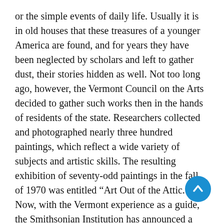or the simple events of daily life. Usually it is in old houses that these treasures of a younger America are found, and for years they have been neglected by scholars and left to gather dust, their stories hidden as well. Not too long ago, however, the Vermont Council on the Arts decided to gather such works then in the hands of residents of the state. Researchers collected and photographed nearly three hundred paintings, which reflect a wide variety of subjects and artistic skills. The resulting exhibition of seventy-odd paintings in the fall of 1970 was entitled “Art Out of the Attic.” Now, with the Vermont experience as a guide, the Smithsonian Institution has announced a nationwide “Bicentennial Inventory of American Paintings Executed before 1914.” Under, one hopes, some catchier title a major exhibition will be mounted in 1976, and the Smithsonian would be delighted if it were to inspire regional groups to present similar shows. In its own small way A MERICAN H ERITAGE has been playing picture detective for almost two decades, and so we pleased to present on the following pages a selection of thirteen of the works that were uncovered by our fellow
[Figure (other): A circular blue scroll-to-top button with an upward-pointing white arrow, positioned in the lower right area of the page.]